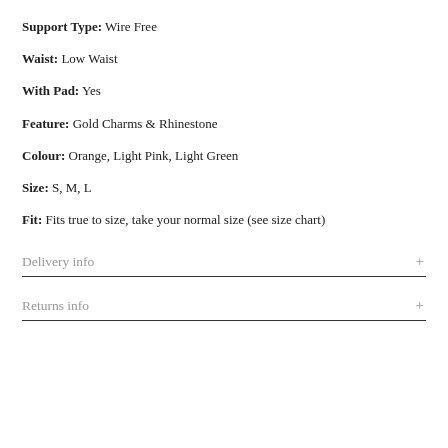Support Type: Wire Free
Waist: Low Waist
With Pad: Yes
Feature: Gold Charms & Rhinestone
Colour: Orange, Light Pink, Light Green
Size: S, M, L
Fit: Fits true to size, take your normal size (see size chart)
Delivery info
Returns info